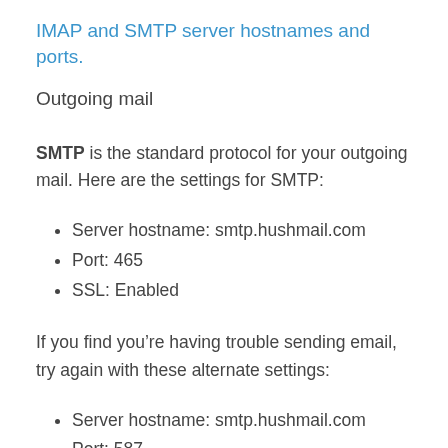IMAP and SMTP server hostnames and ports.
Outgoing mail
SMTP is the standard protocol for your outgoing mail. Here are the settings for SMTP:
Server hostname: smtp.hushmail.com
Port: 465
SSL: Enabled
If you find you’re having trouble sending email, try again with these alternate settings:
Server hostname: smtp.hushmail.com
Port: 587